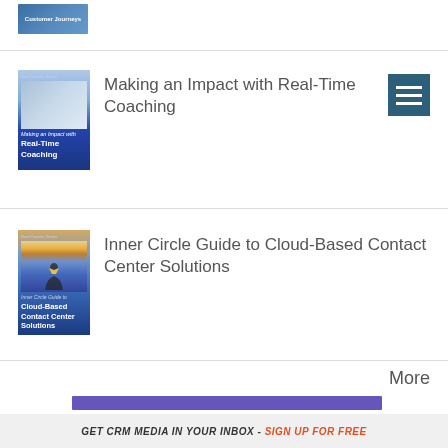[Figure (illustration): Partial book cover labeled 'Customer Journeys' with blue gradient background]
[Figure (illustration): Book cover: 'Making an Impact with Real-Time Coaching' with person at laptop on blue gradient background]
Making an Impact with Real-Time Coaching
[Figure (illustration): Hamburger menu icon (three horizontal white lines on dark teal background)]
[Figure (illustration): Book cover: 'Inner Circle Guide to Cloud-Based Contact Center Solutions' with silhouette figures on blue/gold background]
Inner Circle Guide to Cloud-Based Contact Center Solutions
More
GET CRM MEDIA IN YOUR INBOX - SIGN UP FOR FREE